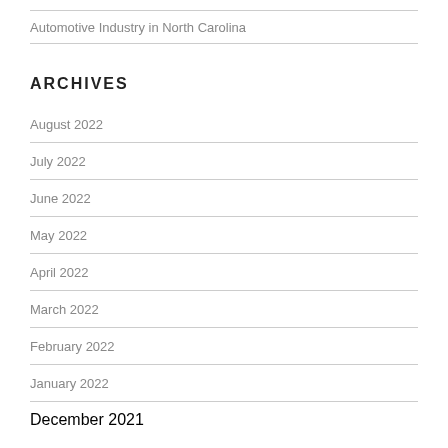Automotive Industry in North Carolina
ARCHIVES
August 2022
July 2022
June 2022
May 2022
April 2022
March 2022
February 2022
January 2022
December 2021